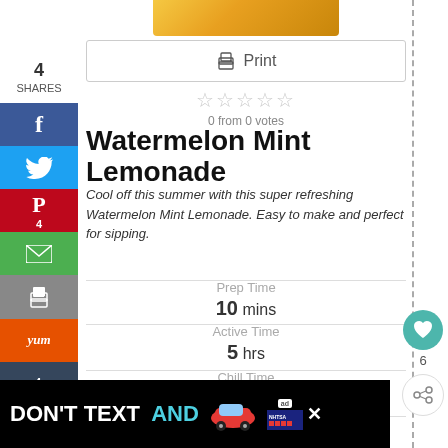[Figure (photo): Partial food photo at top of page showing golden/yellow food item]
Print
0 from 0 votes
Watermelon Mint Lemonade
Cool off this summer with this super refreshing Watermelon Mint Lemonade. Easy to make and perfect for sipping.
Prep Time
10 mins
Active Time
5 hrs
Chill Time
1 hr
[Figure (screenshot): Advertisement banner: DON'T TEXT AND [car image] ad with NHTSA logo]